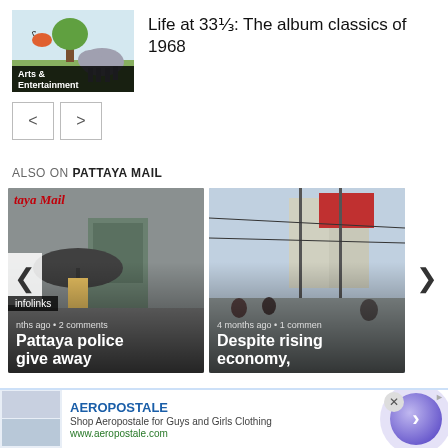[Figure (photo): Thumbnail image with Arts & Entertainment label overlay]
Life at 33⅓: The album classics of 1968
[Figure (other): Navigation previous and next arrow buttons]
ALSO ON PATTAYA MAIL
[Figure (photo): Pattaya Mail news card: Pattaya police give away, a few months ago, 2 comments]
[Figure (photo): News card: Despite rising economy, 4 months ago, 1 comment]
[Figure (other): Advertisement: AEROPOSTALE - Shop Aeropostale for Guys and Girls Clothing, www.aeropostale.com]